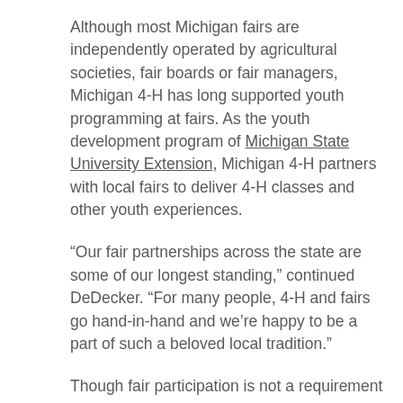Although most Michigan fairs are independently operated by agricultural societies, fair boards or fair managers, Michigan 4-H has long supported youth programming at fairs. As the youth development program of Michigan State University Extension, Michigan 4-H partners with local fairs to deliver 4-H classes and other youth experiences.
“Our fair partnerships across the state are some of our longest standing,” continued DeDecker. “For many people, 4-H and fairs go hand-in-hand and we’re happy to be a part of such a beloved local tradition.”
Though fair participation is not a requirement of 4-H involvement and not every 4-H’er attends their county fair, local fairs play large roles in the lives of many Michigan 4-H youth. For them, the fair is the culmination of a year's work on their 4-H project. A year in which they learned to raise and train an animal, create a still-life project, become an entrepreneur or